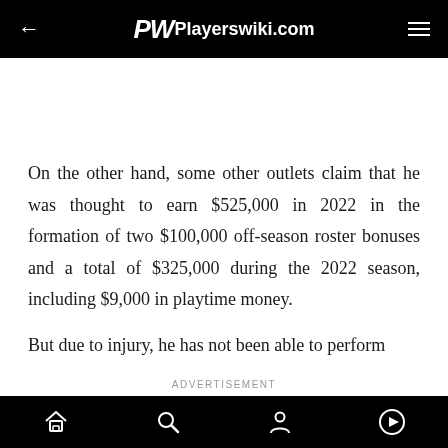Playerswiki.com
On the other hand, some other outlets claim that he was thought to earn $525,000 in 2022 in the formation of two $100,000 off-season roster bonuses and a total of $325,000 during the 2022 season, including $9,000 in playtime money.
But due to injury, he has not been able to perform
ADVERTISEMENT